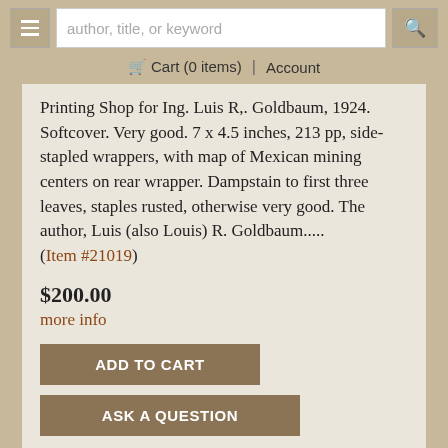author, title, or keyword | Cart (0 items) | Account
Printing Shop for Ing. Luis R,. Goldbaum, 1924. Softcover. Very good. 7 x 4.5 inches, 213 pp, side-stapled wrappers, with map of Mexican mining centers on rear wrapper. Dampstain to first three leaves, staples rusted, otherwise very good. The author, Luis (also Louis) R. Goldbaum..... (Item #21019)
$200.00
more info
ADD TO CART
ASK A QUESTION